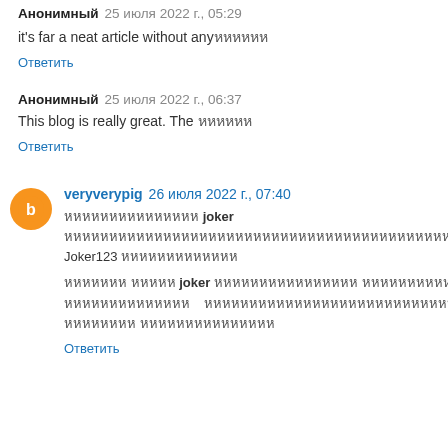Анонимный 25 июля 2022 г., 05:29
it's far a neat article without any [Thai characters]
Ответить
Анонимный 25 июля 2022 г., 06:37
This blog is really great. The [Thai characters]
Ответить
veryverypig 26 июля 2022 г., 07:40
[Thai characters] joker [Thai characters] Joker123 [Thai characters] [Thai link text] joker [Thai characters] joker [Thai characters]
Ответить